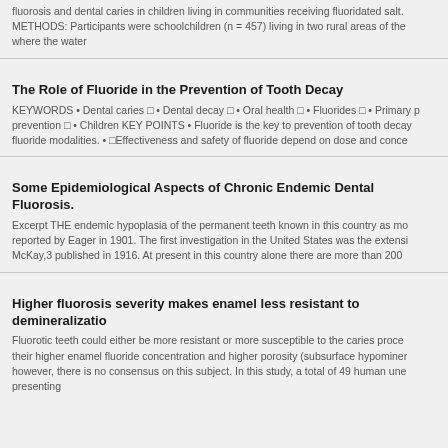fluorosis and dental caries in children living in communities receiving fluoridated salt. METHODS: Participants were schoolchildren (n = 457) living in two rural areas of the where the water
The Role of Fluoride in the Prevention of Tooth Decay
KEYWORDS • Dental caries □ • Dental decay □ • Oral health □ • Fluorides □ • Primary prevention □ • Children KEY POINTS • Fluoride is the key to prevention of tooth decay fluoride modalities. • □Effectiveness and safety of fluoride depend on dose and conce
Some Epidemiological Aspects of Chronic Endemic Dental Fluorosis.
Excerpt THE endemic hypoplasia of the permanent teeth known in this country as mo reported by Eager in 1901. The first investigation in the United States was the extensi McKay,3 published in 1916. At present in this country alone there are more than 200
Higher fluorosis severity makes enamel less resistant to demineralizatio
Fluorotic teeth could either be more resistant or more susceptible to the caries proce their higher enamel fluoride concentration and higher porosity (subsurface hypominer however, there is no consensus on this subject. In this study, a total of 49 human une presenting